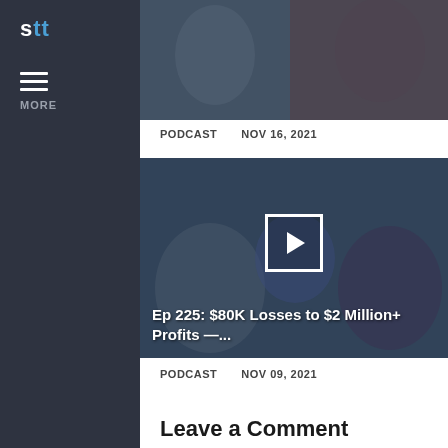[Figure (screenshot): Sidebar logo showing 'stt' with hamburger menu and MORE label on dark background]
[Figure (screenshot): Thumbnail image for Ep 226: NFTs, Cryptomania, & When to AVOID... podcast episode]
PODCAST   NOV 16, 2021
[Figure (screenshot): Thumbnail image for SteadyTrade Episode 225: $80K Losses to $2 Million+ Profits — Jack Schwarze's Incredible Trading Journey, with play button overlay]
Ep 225: $80K Losses to $2 Million+ Profits —...
PODCAST   NOV 09, 2021
Leave a Comment